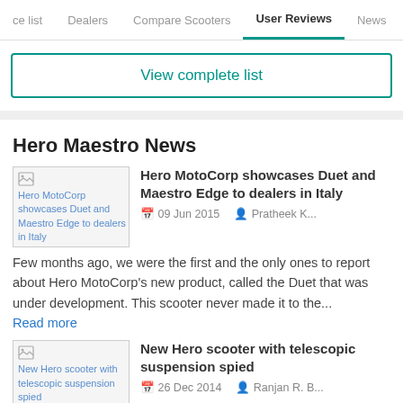ce list   Dealers   Compare Scooters   User Reviews   News
View complete list
Hero Maestro News
[Figure (photo): Thumbnail image: Hero MotoCorp showcases Duet and Maestro Edge to dealers in Italy (broken image placeholder with link text)]
Hero MotoCorp showcases Duet and Maestro Edge to dealers in Italy
09 Jun 2015   Pratheek K...
Few months ago, we were the first and the only ones to report about Hero MotoCorp's new product, called the Duet that was under development. This scooter never made it to the...
Read more
[Figure (photo): Thumbnail image: New Hero scooter with telescopic suspension spied (broken image placeholder with link text)]
New Hero scooter with telescopic suspension spied
26 Dec 2014   Ranjan R. B...
Hero MotoCorp might the world leader when it comes to overall